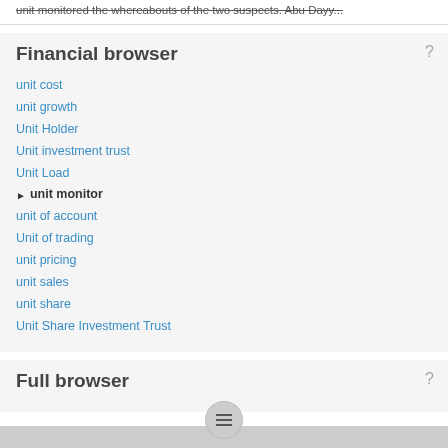unit monitored the whereabouts of the two suspects. Abu Dayya...
Financial browser
unit cost
unit growth
Unit Holder
Unit investment trust
Unit Load
unit monitor
unit of account
Unit of trading
unit pricing
unit sales
unit share
Unit Share Investment Trust
Full browser